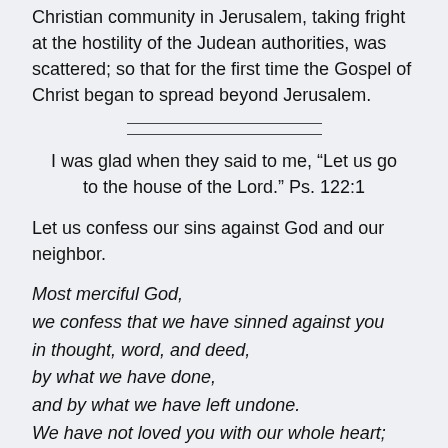Christian community in Jerusalem, taking fright at the hostility of the Judean authorities, was scattered; so that for the first time the Gospel of Christ began to spread beyond Jerusalem.
I was glad when they said to me, “Let us go to the house of the Lord.” Ps. 122:1
Let us confess our sins against God and our neighbor.
Most merciful God,
we confess that we have sinned against you
in thought, word, and deed,
by what we have done,
and by what we have left undone.
We have not loved you with our whole heart;
we have not loved our neighbors as ourselves.